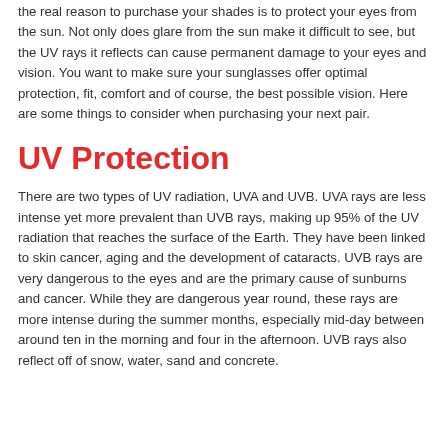the real reason to purchase your shades is to protect your eyes from the sun. Not only does glare from the sun make it difficult to see, but the UV rays it reflects can cause permanent damage to your eyes and vision. You want to make sure your sunglasses offer optimal protection, fit, comfort and of course, the best possible vision. Here are some things to consider when purchasing your next pair.
UV Protection
There are two types of UV radiation, UVA and UVB. UVA rays are less intense yet more prevalent than UVB rays, making up 95% of the UV radiation that reaches the surface of the Earth. They have been linked to skin cancer, aging and the development of cataracts. UVB rays are very dangerous to the eyes and are the primary cause of sunburns and cancer. While they are dangerous year round, these rays are more intense during the summer months, especially mid-day between around ten in the morning and four in the afternoon. UVB rays also reflect off of snow, water, sand and concrete.